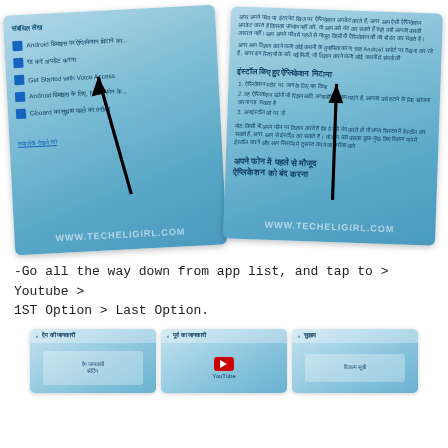[Figure (screenshot): Two Android phone screenshots side by side showing Hindi language settings/app management screens with black arrows pointing upward. Left screen shows a list of articles/guides in Hindi including items like 'Android डिवाइस पर ऐप्लिकेशन मिटाने का...' and 'Get Started with Voice Access'. Right screen shows Hindi text about installed apps with section header 'इंस्टॉल किए हुए ऐप्लिकेशन मिटाना'. Both have a watermark 'WWW.TECHELIGIRL.COM'.]
-Go all the way down from app list, and tap to > Youtube > 1ST Option > Last Option.
[Figure (screenshot): Three mini Android phone screenshots at bottom of page showing app settings screens in Hindi language.]